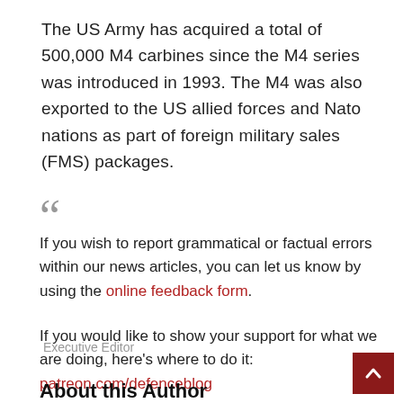The US Army has acquired a total of 500,000 M4 carbines since the M4 series was introduced in 1993. The M4 was also exported to the US allied forces and Nato nations as part of foreign military sales (FMS) packages.
If you wish to report grammatical or factual errors within our news articles, you can let us know by using the online feedback form.
If you would like to show your support for what we are doing, here's where to do it: patreon.com/defenceblog
Executive Editor
About this Author